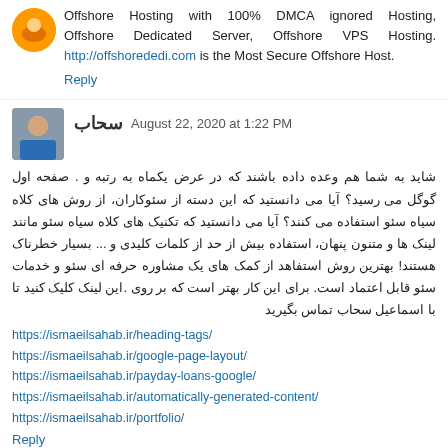Offshore Hosting with 100% DMCA ignored Hosting, Offshore Dedicated Server, Offshore VPS Hosting. http://offshorededi.com is the Most Secure Offshore Host.
Reply
سحاب  August 22, 2020 at 1:22 PM
شاید به شما هم وعده داده باشند که در عرض یکماه به رتبه و صفحه اول گوگل می رسید؟ آیا می دانستید که این دسته از سئوکاران، از روش های کلاه سیاه سئو استفاده می کنند؟ آیا می دانستید که تکنیک های کلاه سیاه سئو مانند لینک ها و متنون پنهان، استفاده بیش از حد از کلمات کلیدی و ... بسیار خطرناک هستند! بهترین روش استفاهد از کمک های یک مشاوره حرفه ای سئو و خدمات سئو قابل اعتماد است. برای این کار بهتر است که بر روی این لینک کلیک کنید تا با اسماعیل سحاب تماس بگیرید.
https://ismaeilsahab.ir/heading-tags/
https://ismaeilsahab.ir/google-page-layout/
https://ismaeilsahab.ir/payday-loans-google/
https://ismaeilsahab.ir/automatically-generated-content/
https://ismaeilsahab.ir/portfolio/
Reply